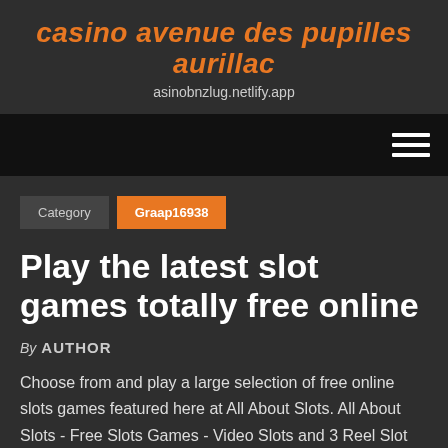casino avenue des pupilles aurillac
asinobnzlug.netlify.app
Category
Graap16938
Play the latest slot games totally free online
By AUTHOR
Choose from and play a large selection of free online slots games featured here at All About Slots. All About Slots - Free Slots Games - Video Slots and 3 Reel Slot Machines